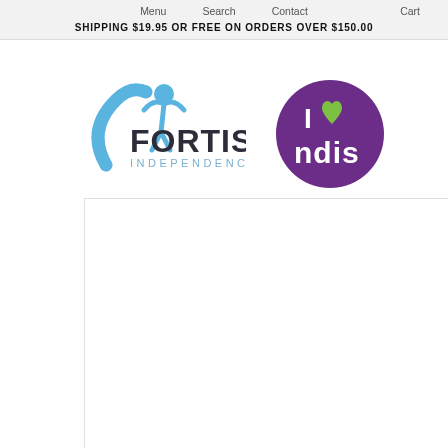Menu   Search   Contact   Cart
SHIPPING $19.95 OR FREE ON ORDERS OVER $150.00
[Figure (logo): Fortis Independence logo — blue figure with arms raised, blue arc, dark grey bold text FORTIS, lighter grey text INDEPENDENCE]
[Figure (logo): I love NDIS badge — purple circle with white text 'I', green heart icon, white text 'ndis']